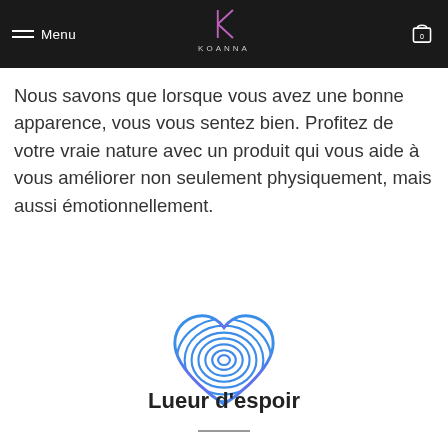Menu | KOANNA
Nous savons que lorsque vous avez une bonne apparence, vous vous sentez bien. Profitez de votre vraie nature avec un produit qui vous aide à vous améliorer non seulement physiquement, mais aussi émotionnellement.
[Figure (logo): Heart-shaped fingerprint swirl logo in purple and blue gradient colors (Koanna brand logo)]
Lueur d'espoir